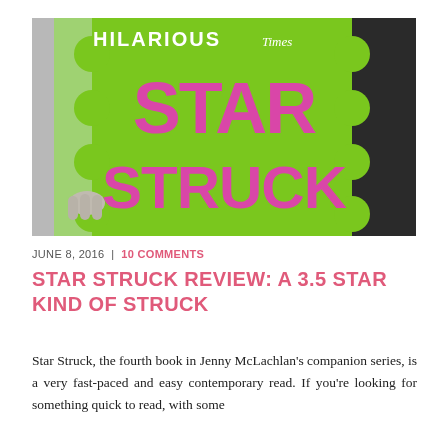[Figure (illustration): Book cover of 'Star Struck' by Jenny McLachlan. A person in a black leather jacket holds up the bright green book cover with large pink text reading 'STAR STRUCK'. The top of the cover shows 'HILARIOUS' and 'Times' in white/pink text. The left side shows a decorative green patterned page.]
JUNE 8, 2016 | 10 COMMENTS
STAR STRUCK REVIEW: A 3.5 STAR KIND OF STRUCK
Star Struck, the fourth book in Jenny McLachlan's companion series, is a very fast-paced and easy contemporary read. If you're looking for something quick to read, with some